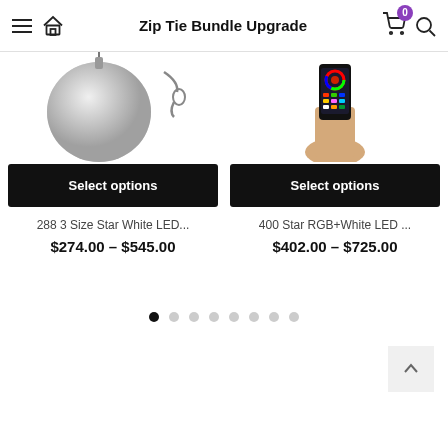Zip Tie Bundle Upgrade
[Figure (photo): Product image of a white LED star ball and hanging hardware]
Select options
288 3 Size Star White LED...
$274.00 – $545.00
[Figure (photo): Product image of a hand holding a smartphone with RGB color control app]
Select options
400 Star RGB+White LED ...
$402.00 – $725.00